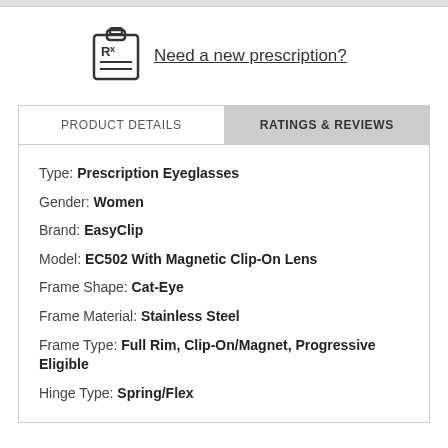[Figure (illustration): Clipboard icon with Rx prescription symbol]
Need a new prescription?
| Type: | Prescription Eyeglasses |
| Gender: | Women |
| Brand: | EasyClip |
| Model: | EC502 With Magnetic Clip-On Lens |
| Frame Shape: | Cat-Eye |
| Frame Material: | Stainless Steel |
| Frame Type: | Full Rim, Clip-On/Magnet, Progressive Eligible |
| Hinge Type: | Spring/Flex |